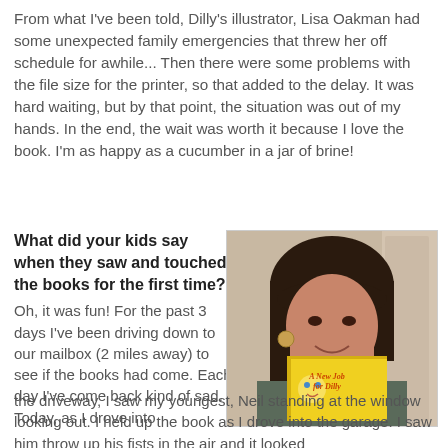From what I've been told, Dilly's illustrator, Lisa Oakman had some unexpected family emergencies that threw her off schedule for awhile... Then there were some problems with the file size for the printer, so that added to the delay. It was hard waiting, but by that point, the situation was out of my hands. In the end, the wait was worth it because I love the book. I'm as happy as a cucumber in a jar of brine!
What did your kids say when they saw and touched the books for the first time? Oh, it was fun! For the past 3 days I've been driving down to our mailbox (2 miles away) to see if the books had come. Each day I've come back kind of sad. Today, as I drove into the driveway, I saw my youngest, Neil standing at the window looking out. I held up the book as I drove into the garage. I saw him throw up his fists in the air and it looked
[Figure (photo): A woman with dark hair and bangs holding up a yellow children's book titled 'A New Job for Dilly', smiling at the camera]